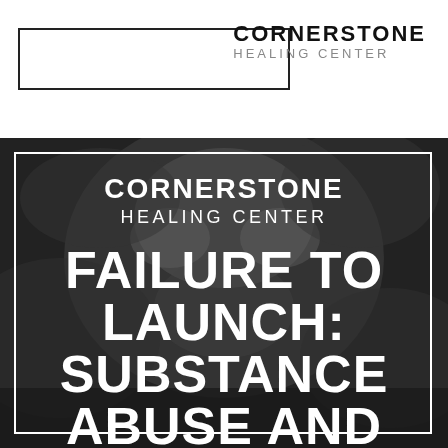[Figure (logo): Cornerstone Healing Center logo with rectangular box on left and text on right]
[Figure (photo): Dark black and white photo background with a person's face/head, overlaid with white border rectangle and large white text reading CORNERSTONE HEALING CENTER FAILURE TO LAUNCH: SUBSTANCE ABUSE AND...]